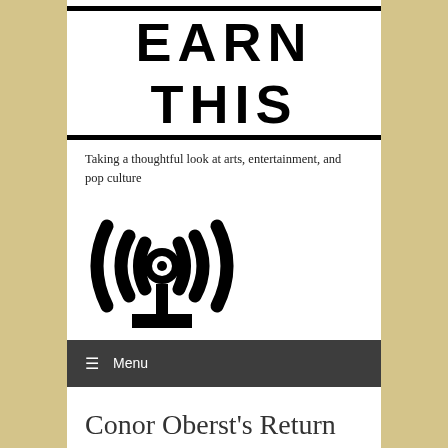EARN THIS
Taking a thoughtful look at arts, entertainment, and pop culture
[Figure (illustration): Podcast/broadcast icon: concentric radio wave arcs above a circle and a vertical stand with a horizontal base, rendered in black.]
≡ Menu
Conor Oberst's Return to Glory
Grant J. / September 23, 2014
Conor Oberst is 34?!